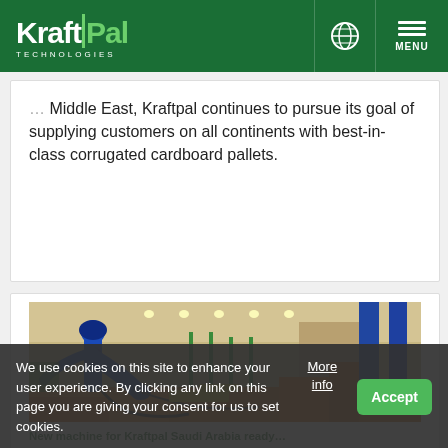KraftPal Technologies
Middle East, Kraftpal continues to pursue its goal of supplying customers on all continents with best-in-class corrugated cardboard pallets.
[Figure (photo): Industrial robot arm (blue) in a manufacturing facility with orange equipment on the factory floor.]
New machine for Kraftpal Saudi Arabia ready
We use cookies on this site to enhance your user experience. By clicking any link on this page you are giving your consent for us to set cookies. More info  Accept